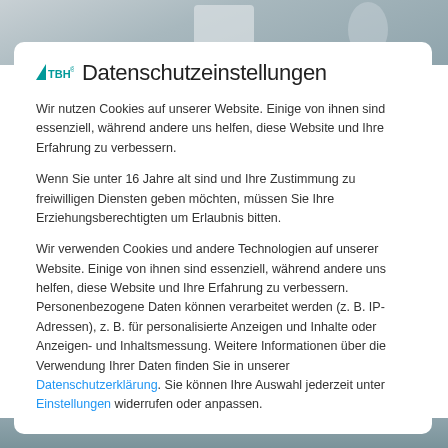[Figure (screenshot): Background photo blurred, showing a person in a white coat against a light background]
TBH Datenschutzeinstellungen
Wir nutzen Cookies auf unserer Website. Einige von ihnen sind essenziell, während andere uns helfen, diese Website und Ihre Erfahrung zu verbessern.
Wenn Sie unter 16 Jahre alt sind und Ihre Zustimmung zu freiwilligen Diensten geben möchten, müssen Sie Ihre Erziehungsberechtigten um Erlaubnis bitten.
Wir verwenden Cookies und andere Technologien auf unserer Website. Einige von ihnen sind essenziell, während andere uns helfen, diese Website und Ihre Erfahrung zu verbessern. Personenbezogene Daten können verarbeitet werden (z. B. IP-Adressen), z. B. für personalisierte Anzeigen und Inhalte oder Anzeigen- und Inhaltsmessung. Weitere Informationen über die Verwendung Ihrer Daten finden Sie in unserer Datenschutzerklärung. Sie können Ihre Auswahl jederzeit unter Einstellungen widerrufen oder anpassen.